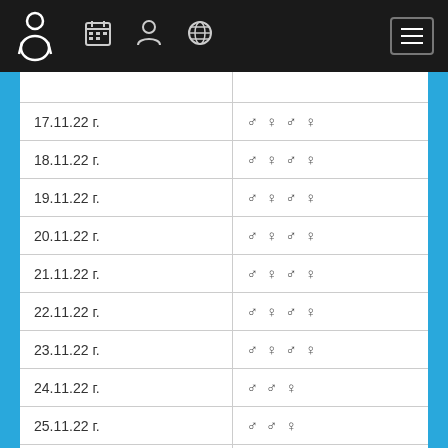App navigation header with icons
| Date | Symbols |
| --- | --- |
| 17.11.22 г. | ♂ ♀ ♂ ♀ |
| 18.11.22 г. | ♂ ♀ ♂ ♀ |
| 19.11.22 г. | ♂ ♀ ♂ ♀ |
| 20.11.22 г. | ♂ ♀ ♂ ♀ |
| 21.11.22 г. | ♂ ♀ ♂ ♀ |
| 22.11.22 г. | ♂ ♀ ♂ ♀ |
| 23.11.22 г. | ♂ ♀ ♂ ♀ |
| 24.11.22 г. | ♂ ♂ ♀ |
| 25.11.22 г. | ♂ ♂ ♀ |
| 26.11.22 г. | ♂ ♂ ♀ |
| 27.11.22 г. | ♂ ♂ ♀ |